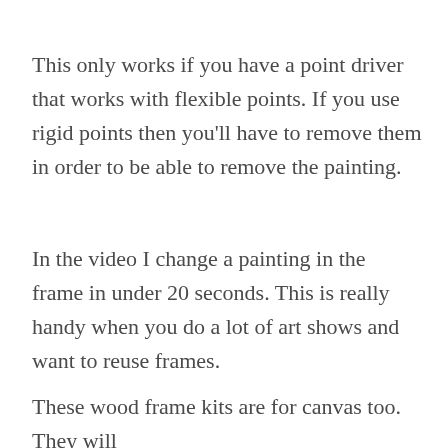This only works if you have a point driver that works with flexible points. If you use rigid points then you'll have to remove them in order to be able to remove the painting.
In the video I change a painting in the frame in under 20 seconds. This is really handy when you do a lot of art shows and want to reuse frames.
These wood frame kits are for canvas too. They will